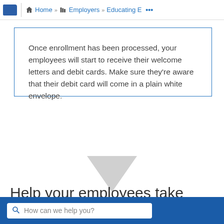Home » Employers » Educating E ...
Once enrollment has been processed, your employees will start to receive their welcome letters and debit cards. Make sure they're aware that their debit card will come in a plain white envelope.
[Figure (illustration): A downward-pointing grey chevron arrow]
Help your employees take advantage of their new accounts
How can we help you?